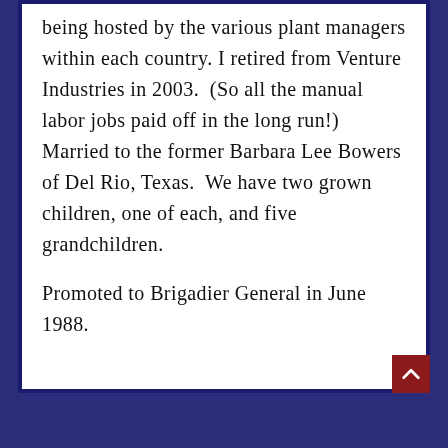being hosted by the various plant managers within each country. I retired from Venture Industries in 2003.  (So all the manual labor jobs paid off in the long run!) Married to the former Barbara Lee Bowers of Del Rio, Texas.  We have two grown children, one of each, and five grandchildren.
Promoted to Brigadier General in June 1988.